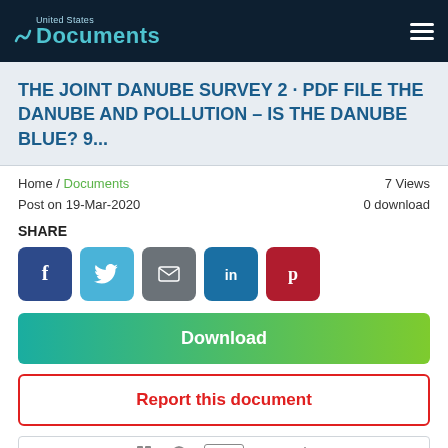United States Documents
THE JOINT DANUBE SURVEY 2 · PDF FILE THE DANUBE AND POLLUTION – IS THE DANUBE BLUE? 9...
Home / Documents    7 Views
Post on 19-Mar-2020    0 download
SHARE
[Figure (infographic): Social share buttons: Facebook (blue), Twitter (light blue), Email (gray), LinkedIn (dark blue), Pinterest (red)]
Download
Report this document
[Figure (screenshot): Document preview toolbar at bottom of page]